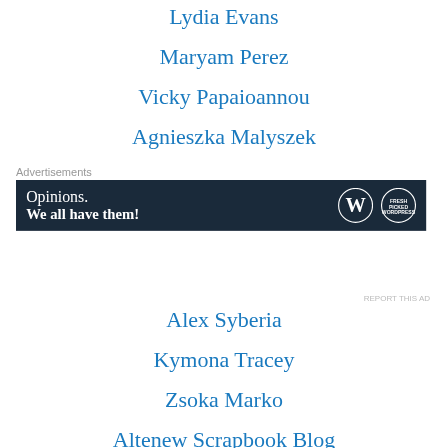Lydia Evans
Maryam Perez
Vicky Papaioannou
Agnieszka Malyszek
[Figure (other): Advertisement banner: Opinions. We all have them! with WordPress logo]
Alex Syberia
Kymona Tracey
Zsoka Marko
Altenew Scrapbook Blog
Svitlana Shayevich